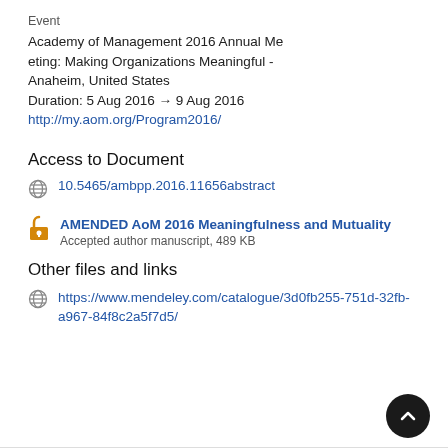Event
Academy of Management 2016 Annual Meeting: Making Organizations Meaningful - Anaheim, United States
Duration: 5 Aug 2016 → 9 Aug 2016
http://my.aom.org/Program2016/
Access to Document
10.5465/ambpp.2016.11656abstract
AMENDED AoM 2016 Meaningfulness and Mutuality
Accepted author manuscript, 489 KB
Other files and links
https://www.mendeley.com/catalogue/3d0fb255-751d-32fb-a967-84f8c2a5f7d5/